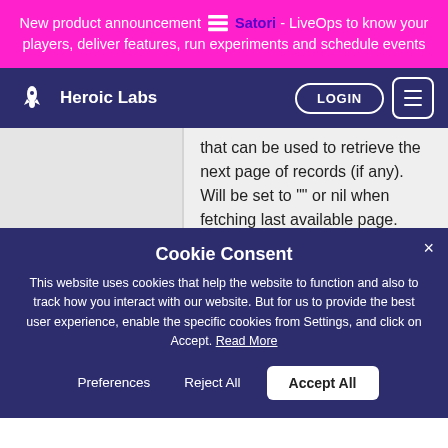New product announcement ≡ Satori - LiveOps to know your players, deliver features, run experiments and schedule events
Heroic Labs
that can be used to retrieve the next page of records (if any). Will be set to "" or nil when fetching last available page.
Cookie Consent
This website uses cookies that help the website to function and also to track how you interact with our website. But for us to provide the best user experience, enable the specific cookies from Settings, and click on Accept. Read More
Preferences
Reject All
Accept All